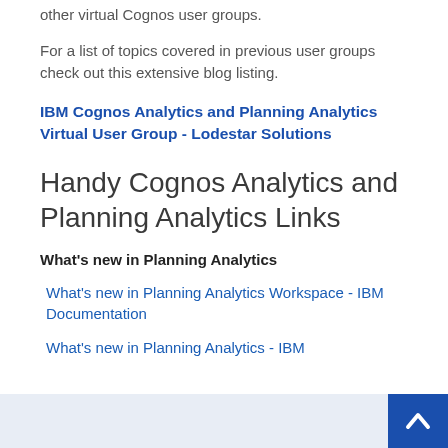other virtual Cognos user groups.
For a list of topics covered in previous user groups check out this extensive blog listing.
IBM Cognos Analytics and Planning Analytics Virtual User Group - Lodestar Solutions
Handy Cognos Analytics and Planning Analytics Links
What's new in Planning Analytics
What's new in Planning Analytics Workspace - IBM Documentation
What's new in Planning Analytics - IBM